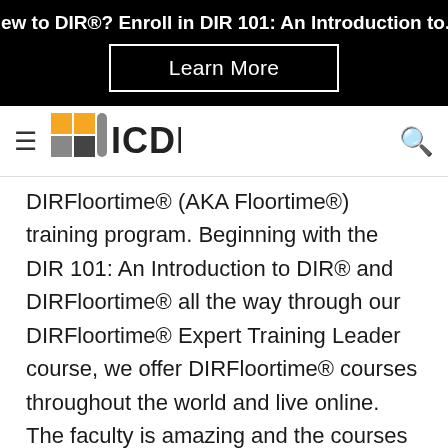New to DIR®? Enroll in DIR 101: An Introduction to...
[Figure (other): Learn More button on black banner background]
[Figure (logo): ICDL logo with orange and grey grid squares]
DIRFloortime® (AKA Floortime®) training program. Beginning with the DIR 101: An Introduction to DIR® and DIRFloortime® all the way through our DIRFloortime® Expert Training Leader course, we offer DIRFloortime® courses throughout the world and live online.  The faculty is amazing and the courses are incredible. All courses are open to professionals and the DIR 101 and select other course